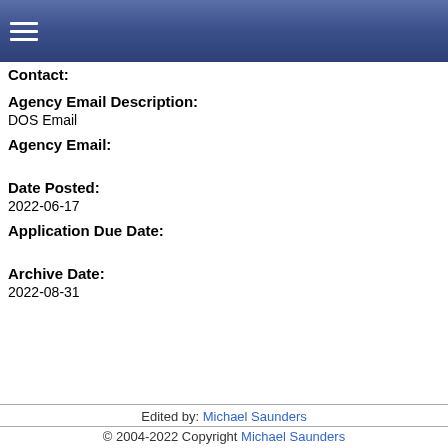☰
Contact:
Agency Email Description:
DOS Email
Agency Email:
Date Posted:
2022-06-17
Application Due Date:
Archive Date:
2022-08-31
Edited by: Michael Saunders
© 2004-2022 Copyright Michael Saunders